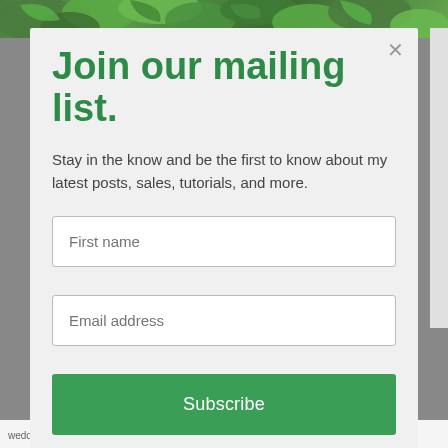[Figure (photo): Green foliage/plant background at top of page behind modal]
Join our mailing list.
Stay in the know and be the first to know about my latest posts, sales, tutorials, and more.
First name
Email address
Subscribe
wedding shower that was held at my in-law's house. Belle thought they